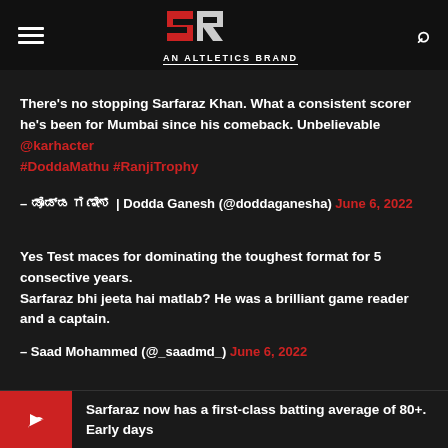SR AN ALTLETICS BRAND
There’s no stopping Sarfaraz Khan. What a consistent scorer he’s been for Mumbai since his comeback. Unbelievable @karhacter #DoddaMathu #RanjiTrophy
– ಡೊಡ್ಡ ಗಣೇಶ | Dodda Ganesh (@doddaganesha) June 6, 2022
Yes Test maces for dominating the toughest format for 5 consective years.
Sarfaraz bhi jeeta hai matlab? He was a brilliant game reader and a captain.
– Saad Mohammed (@_saadmd_) June 6, 2022
Sarfaraz now has a first-class batting average of 80+. Early days